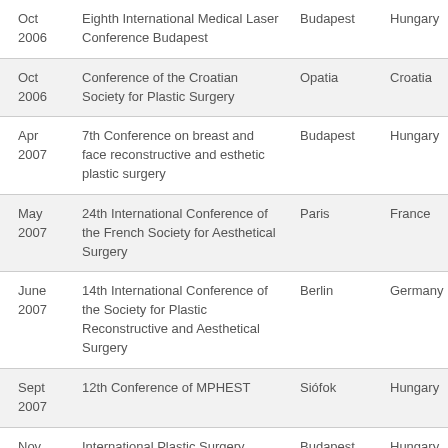| Date | Conference | City | Country |
| --- | --- | --- | --- |
| Oct 2006 | Eighth International Medical Laser Conference Budapest | Budapest | Hungary |
| Oct 2006 | Conference of the Croatian Society for Plastic Surgery | Opatia | Croatia |
| Apr 2007 | 7th Conference on breast and face reconstructive and esthetic plastic surgery | Budapest | Hungary |
| May 2007 | 24th International Conference of the French Society for Aesthetical Surgery | Paris | France |
| June 2007 | 14th International Conference of the Society for Plastic Reconstructive and Aesthetical Surgery | Berlin | Germany |
| Sept 2007 | 12th Conference of MPHEST | Siófok | Hungary |
| Nov 2007 | International Plastic Surgery Conference | Budapest | Hungary |